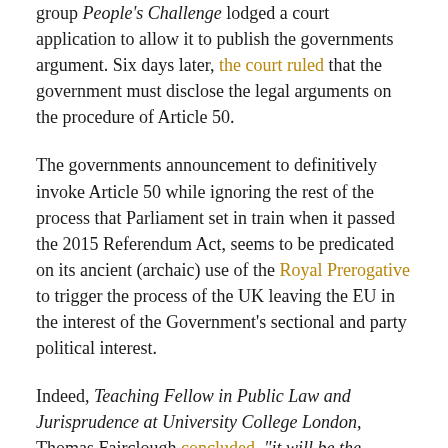group People's Challenge lodged a court application to allow it to publish the governments argument. Six days later, the court ruled that the government must disclose the legal arguments on the procedure of Article 50.
The governments announcement to definitively invoke Article 50 while ignoring the rest of the process that Parliament set in train when it passed the 2015 Referendum Act, seems to be predicated on its ancient (archaic) use of the Royal Prerogative to trigger the process of the UK leaving the EU in the interest of the Government's sectional and party political interest.
Indeed, Teaching Fellow in Public Law and Jurisprudence at University College London, Thomas Fairclough concluded, "it will be the Government, using the Royal Prerogative, who will decide if/when to trigger the Article 50 mechanism and take the United Kingdom out of the European Union." By using the Royal Prerogative to trigger Article 50 of the Treaty of Lisbon this Government will be sweeping away rights at a stroke of a pen without the